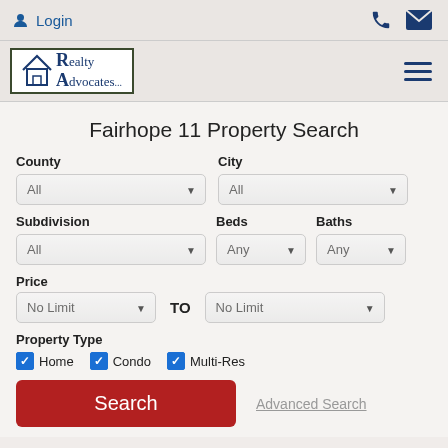Login
[Figure (logo): Realty Advocates logo with house and RA initials]
Fairhope 11 Property Search
County: All | City: All
Subdivision: All | Beds: Any | Baths: Any
Price: No Limit TO No Limit
Property Type: Home (checked), Condo (checked), Multi-Res (checked)
Search | Advanced Search